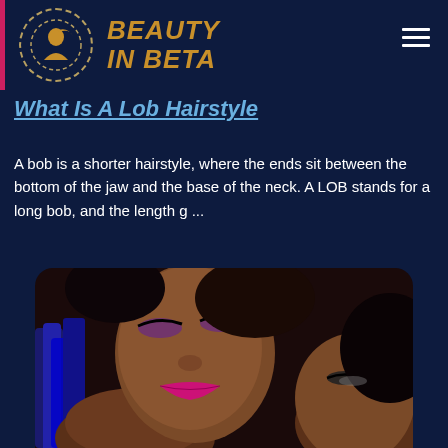BEAUTY IN BETA
What Is A Lob Hairstyle
A bob is a shorter hairstyle, where the ends sit between the bottom of the jaw and the base of the neck. A LOB stands for a long bob, and the length g …
[Figure (photo): Two women with glamorous makeup — one with bright magenta/fuchsia lipstick and purple eye shadow, another with dramatic eye makeup — and braided hair with blue highlights, close-up beauty portrait photograph on dark background.]